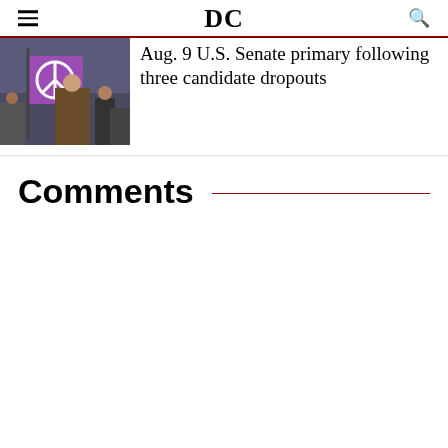DC
[Figure (photo): A person holding a purple peace sign flag at a public gathering, with a crowd in the background.]
Aug. 9 U.S. Senate primary following three candidate dropouts
Comments